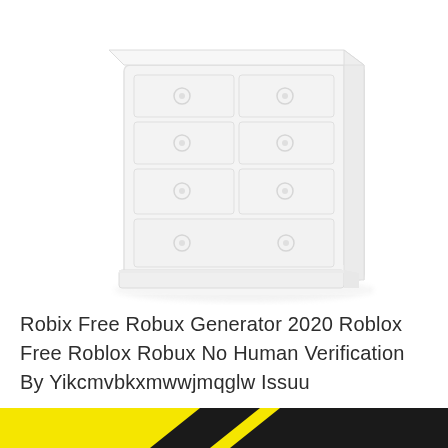[Figure (illustration): A blurred/faded illustration of a white wooden chest of drawers (dresser) with multiple drawers and round knob handles, shown in a 3/4 perspective view against a white background.]
Robix Free Robux Generator 2020 Roblox Free Roblox Robux No Human Verification By Yikcmvbkxmwwjmqglw Issuu
[Figure (illustration): Bottom footer bar with yellow and black diagonal stripes/shapes forming a decorative banner.]